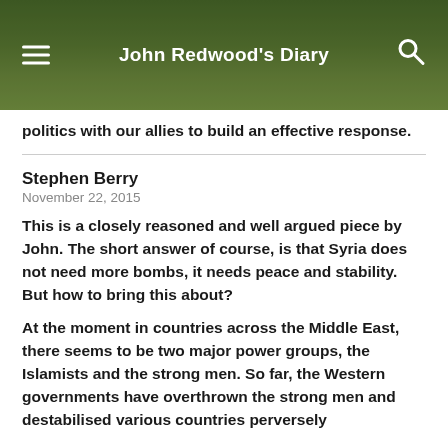John Redwood's Diary
politics with our allies to build an effective response.
Stephen Berry
November 22, 2015
This is a closely reasoned and well argued piece by John. The short answer of course, is that Syria does not need more bombs, it needs peace and stability. But how to bring this about?
At the moment in countries across the Middle East, there seems to be two major power groups, the Islamists and the strong men. So far, the Western governments have overthrown the strong men and destabilised various countries perversely